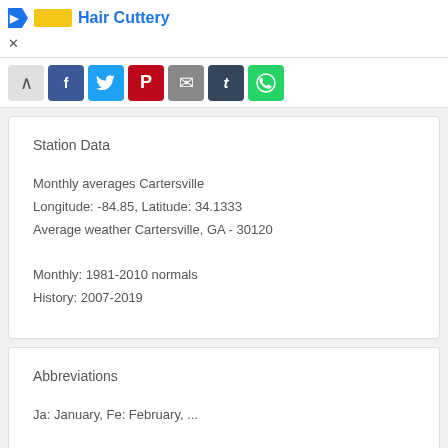Hair Cuttery
[Figure (screenshot): Social share bar with toggle, Facebook, Twitter, Pinterest, Email, Tumblr, and WhatsApp buttons]
Station Data
Monthly averages Cartersville
Longitude: -84.85, Latitude: 34.1333
Average weather Cartersville, GA - 30120

Monthly: 1981-2010 normals
History: 2007-2019
Abbreviations
Ja: January, Fe: February, ...